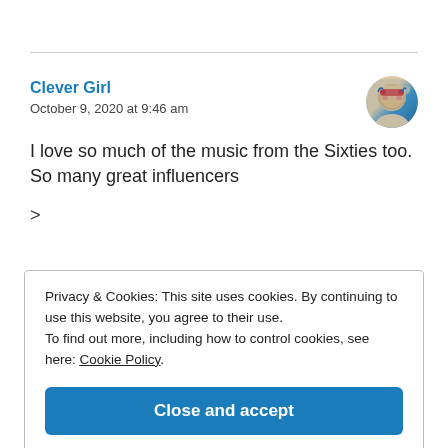Clever Girl
October 9, 2020 at 9:46 am
I love so much of the music from the Sixties too. So many great influencers
>
Privacy & Cookies: This site uses cookies. By continuing to use this website, you agree to their use.
To find out more, including how to control cookies, see here: Cookie Policy
Close and accept